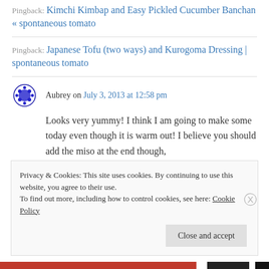Pingback: Kimchi Kimbap and Easy Pickled Cucumber Banchan « spontaneous tomato
Pingback: Japanese Tofu (two ways) and Kurogoma Dressing | spontaneous tomato
Aubrey on July 3, 2013 at 12:58 pm
Looks very yummy! I think I am going to make some today even though it is warm out! I believe you should add the miso at the end though,
Privacy & Cookies: This site uses cookies. By continuing to use this website, you agree to their use.
To find out more, including how to control cookies, see here: Cookie Policy